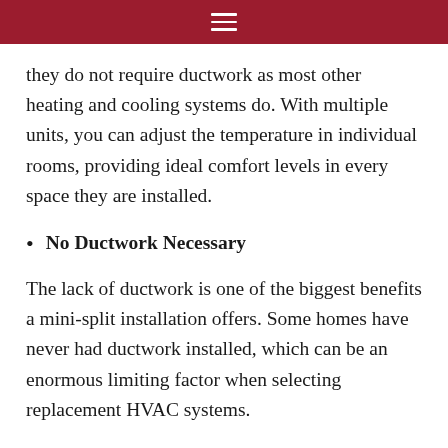≡
they do not require ductwork as most other heating and cooling systems do. With multiple units, you can adjust the temperature in individual rooms, providing ideal comfort levels in every space they are installed.
No Ductwork Necessary
The lack of ductwork is one of the biggest benefits a mini-split installation offers. Some homes have never had ductwork installed, which can be an enormous limiting factor when selecting replacement HVAC systems.